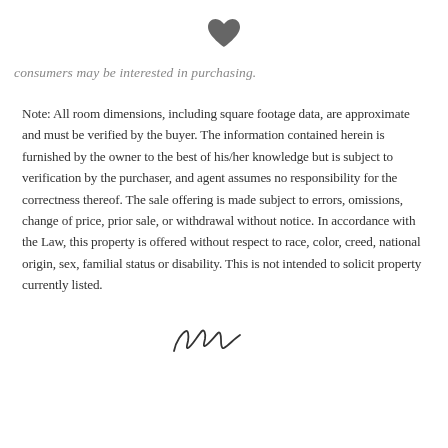[Figure (illustration): Dark gray filled heart icon centered at top of page]
consumers may be interested in purchasing.
Note: All room dimensions, including square footage data, are approximate and must be verified by the buyer. The information contained herein is furnished by the owner to the best of his/her knowledge but is subject to verification by the purchaser, and agent assumes no responsibility for the correctness thereof. The sale offering is made subject to errors, omissions, change of price, prior sale, or withdrawal without notice. In accordance with the Law, this property is offered without respect to race, color, creed, national origin, sex, familial status or disability. This is not intended to solicit property currently listed.
[Figure (illustration): Cursive signature or logo in dark ink at bottom center of page]